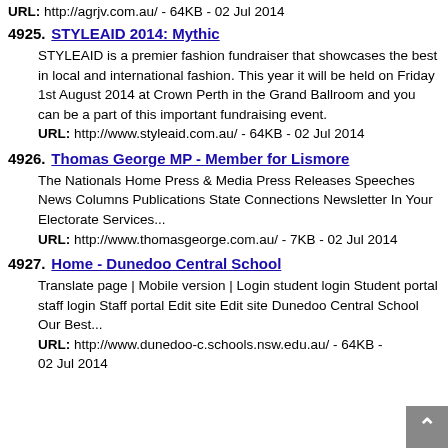URL: http://agrjv.com.au/ - 64KB - 02 Jul 2014
4925. STYLEAID 2014: Mythic
STYLEAID is a premier fashion fundraiser that showcases the best in local and international fashion. This year it will be held on Friday 1st August 2014 at Crown Perth in the Grand Ballroom and you can be a part of this important fundraising event.
URL: http://www.styleaid.com.au/ - 64KB - 02 Jul 2014
4926. Thomas George MP - Member for Lismore
The Nationals Home Press & Media Press Releases Speeches News Columns Publications State Connections Newsletter In Your Electorate Services...
URL: http://www.thomasgeorge.com.au/ - 7KB - 02 Jul 2014
4927. Home - Dunedoo Central School
Translate page | Mobile version | Login student login Student portal staff login Staff portal Edit site Edit site Dunedoo Central School Our Best...
URL: http://www.dunedoo-c.schools.nsw.edu.au/ - 64KB - 02 Jul 2014